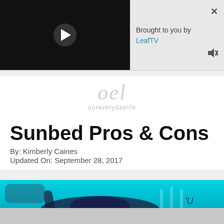[Figure (screenshot): Video player with black background and white play button triangle, with 'Brought to you by LeafTV' sponsor panel on the right with close (x) and mute icons]
[Figure (logo): OEL oureverydaylife logo in light gray italic script]
Sunbed Pros & Cons
By: Kimberly Caines
Updated On: September 28, 2017
[Figure (photo): Person lying in a sunbed tanning bed with bright blue UV light illuminating the interior]